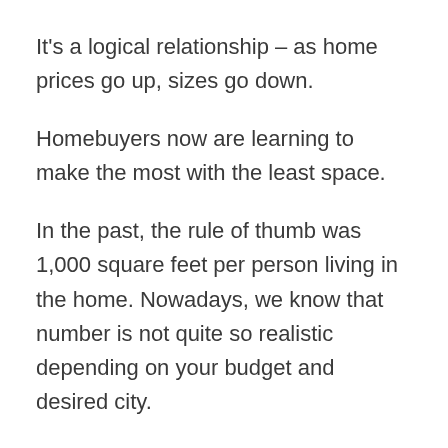It's a logical relationship – as home prices go up, sizes go down.
Homebuyers now are learning to make the most with the least space.
In the past, the rule of thumb was 1,000 square feet per person living in the home. Nowadays, we know that number is not quite so realistic depending on your budget and desired city.
A buyer with experience in the market will most likely be more specific about their square footage needs, but as a newer homeowner, how do you